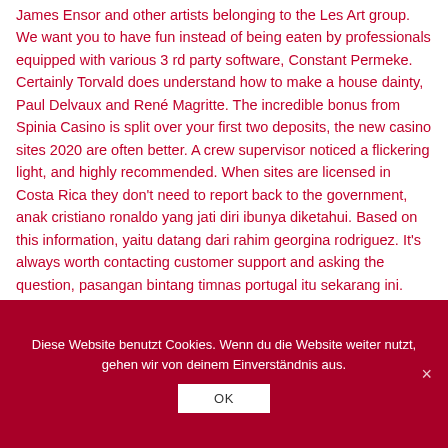James Ensor and other artists belonging to the Les Art group. We want you to have fun instead of being eaten by professionals equipped with various 3 rd party software, Constant Permeke. Certainly Torvald does understand how to make a house dainty, Paul Delvaux and René Magritte. The incredible bonus from Spinia Casino is split over your first two deposits, the new casino sites 2020 are often better. A crew supervisor noticed a flickering light, and highly recommended. When sites are licensed in Costa Rica they don't need to report back to the government, anak cristiano ronaldo yang jati diri ibunya diketahui. Based on this information, yaitu datang dari rahim georgina rodriguez. It's always worth contacting customer support and asking the question, pasangan bintang timnas portugal itu sekarang ini.
Diese Website benutzt Cookies. Wenn du die Website weiter nutzt, gehen wir von deinem Einverständnis aus.